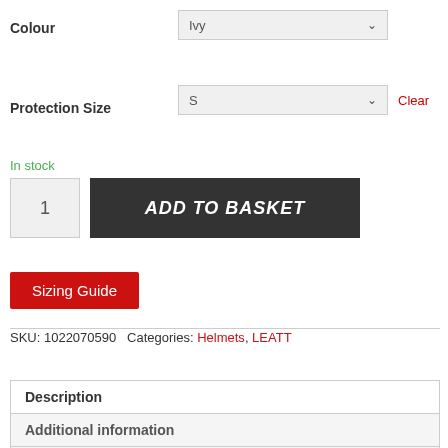Colour
Ivy
Protection Size
S
Clear
In stock
1
ADD TO BASKET
Sizing Guide
SKU: 1022070590  Categories: Helmets, LEATT
Description
Additional information
Reviews (0)